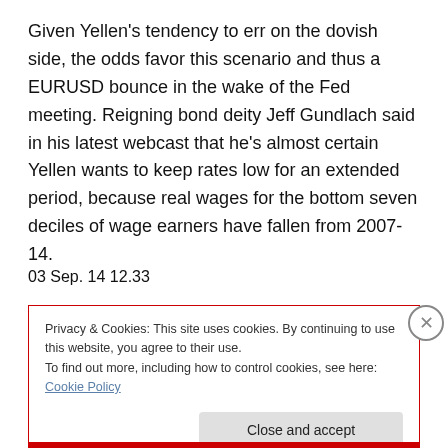Given Yellen's tendency to err on the dovish side, the odds favor this scenario and thus a EURUSD bounce in the wake of the Fed meeting. Reigning bond deity Jeff Gundlach said in his latest webcast that he's almost certain Yellen wants to keep rates low for an extended period, because real wages for the bottom seven deciles of wage earners have fallen from 2007-14.
03 Sep. 14 12.33
Privacy & Cookies: This site uses cookies. By continuing to use this website, you agree to their use.
To find out more, including how to control cookies, see here: Cookie Policy